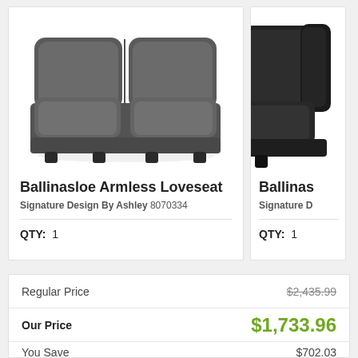[Figure (photo): Gray fabric armless loveseat sofa product photo, front view]
Ballinasloe Armless Loveseat
Signature Design By Ashley 8070334
QTY: 1
[Figure (photo): Partial view of a dark/black sofa product, cropped at right edge]
Ballinas...
Signature D...
QTY: 1
|  |  |
| --- | --- |
| Regular Price | $2,435.99 |
| Our Price | $1,733.96 |
| You Save | $702.03 |